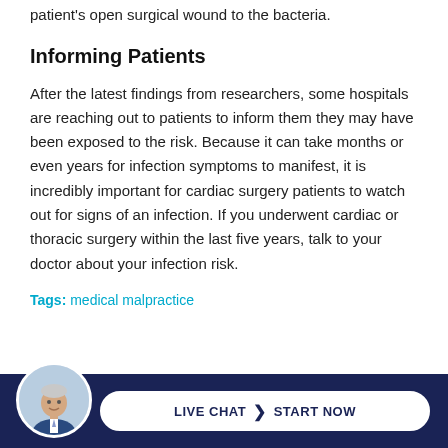patient's open surgical wound to the bacteria.
Informing Patients
After the latest findings from researchers, some hospitals are reaching out to patients to inform them they may have been exposed to the risk. Because it can take months or even years for infection symptoms to manifest, it is incredibly important for cardiac surgery patients to watch out for signs of an infection. If you underwent cardiac or thoracic surgery within the last five years, talk to your doctor about your infection risk.
Tags: medical malpractice
[Figure (photo): Footer bar with live chat button and attorney portrait photo. Dark navy background with white rounded button reading 'LIVE CHAT > START NOW' and circular headshot of a man in a suit.]